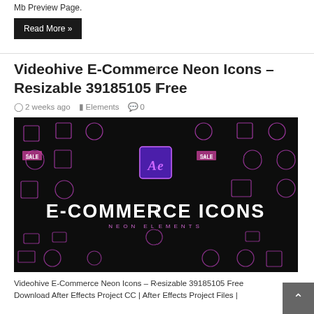Mb Preview Page.
Read More »
Videohive E-Commerce Neon Icons – Resizable 39185105 Free
2 weeks ago   Elements   0
[Figure (screenshot): Thumbnail image showing neon purple E-Commerce icons on a dark background with Adobe After Effects logo badge and text 'E-COMMERCE ICONS NEON ELEMENTS']
Videohive E-Commerce Neon Icons – Resizable 39185105 Free Download After Effects Project CC | After Effects Project Files |